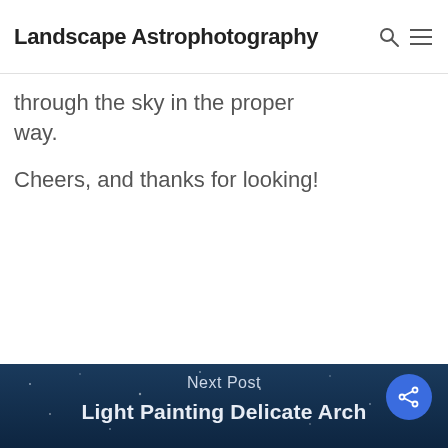Landscape Astrophotography
through the sky in the proper way.
Cheers, and thanks for looking!
Next Post
Light Painting Delicate Arch